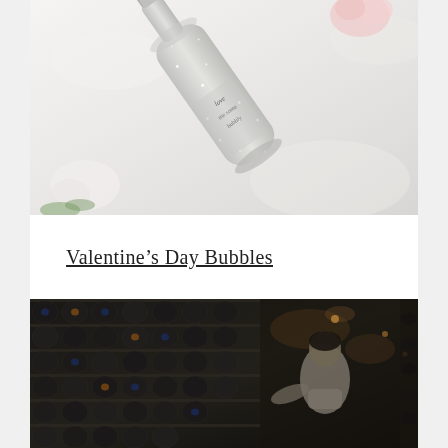[Figure (photo): A silver/white glittery champagne bottle lying on soft white fabric, with a flower visible in the background. Text on bottle reads something like 'love' in decorative lettering.]
Valentine's Day Bubbles
[Figure (photo): A dark wine cellar or wine bar interior with a wall of wine bottles in modern racks. A person (sommelier or staff) is seen working among the bottles. Warm accent lighting visible in the background.]